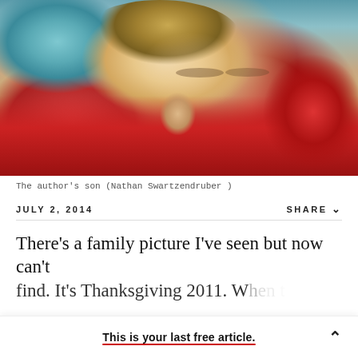[Figure (photo): Close-up photo of a sleeping young child (toddler/infant) with light hair, lying on colorful bedding (teal, red). Child's face is tilted, eyes closed, hands near head.]
The author's son (Nathan Swartzendruber )
JULY 2, 2014    SHARE
There's a family picture I've seen but now can't find. It's Thanksgiving 2011. Wh...
This is your last free article.